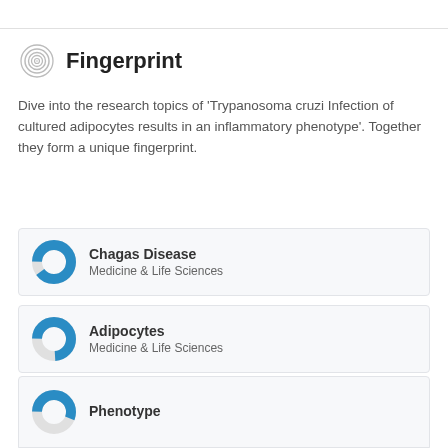Fingerprint
Dive into the research topics of 'Trypanosoma cruzi Infection of cultured adipocytes results in an inflammatory phenotype'. Together they form a unique fingerprint.
Chagas Disease — Medicine & Life Sciences
Adipocytes — Medicine & Life Sciences
Trypanosoma cruzi — Medicine & Life Sciences
Phenotype